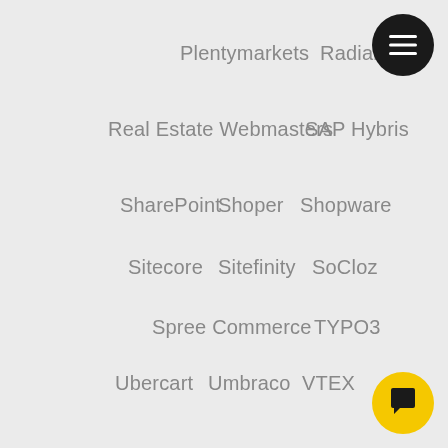Plentymarkets
Radial
Real Estate Webmasters
SAP Hybris
SharePoint
Shoper
Shopware
Sitecore
Sitefinity
SoCloz
Spree Commerce
TYPO3
Ubercart
Umbraco
VTEX
Webydo
xt: Commerce
Yahoo Small Business
Zoey